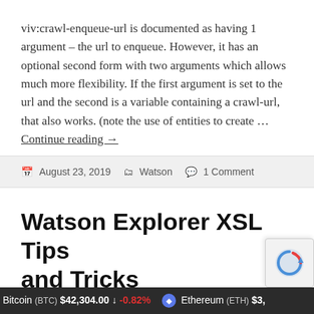viv:crawl-enqueue-url is documented as having 1 argument – the url to enqueue. However, it has an optional second form with two arguments which allows much more flexibility. If the first argument is set to the url and the second is a variable containing a crawl-url, that also works. (note the use of entities to create … Continue reading →
August 23, 2019  Watson  1 Comment
Watson Explorer XSL Tips and Tricks
Bitcoin (BTC) $42,304.00 ↓ -0.82%   Ethereum (ETH) $3,